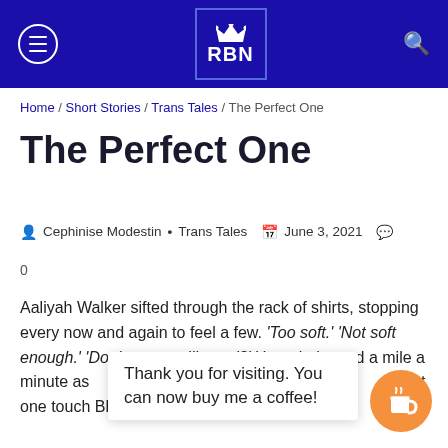RBN
Home / Short Stories / Trans Tales / The Perfect One
The Perfect One
Cephinise Modestin • Trans Tales   June 3, 2021   0
Aaliyah Walker sifted through the rack of shirts, stopping every now and again to feel a few. 'Too soft.' 'Not soft enough.' 'Do they even like red?' Her mind raced a mile a minute as  and various o  t one touch Blu  of Hopefully
Thank you for visiting. You can now buy me a coffee!